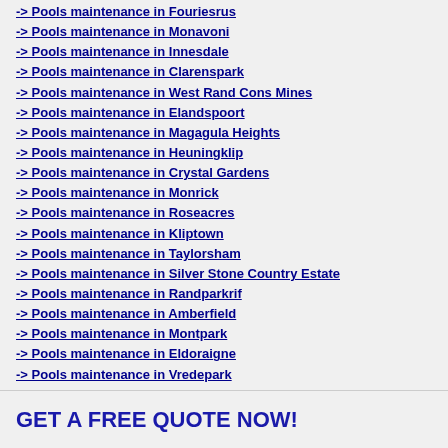-> Pools maintenance in Fouriesrus
-> Pools maintenance in Monavoni
-> Pools maintenance in Innesdale
-> Pools maintenance in Clarenspark
-> Pools maintenance in West Rand Cons Mines
-> Pools maintenance in Elandspoort
-> Pools maintenance in Magagula Heights
-> Pools maintenance in Heuningklip
-> Pools maintenance in Crystal Gardens
-> Pools maintenance in Monrick
-> Pools maintenance in Roseacres
-> Pools maintenance in Kliptown
-> Pools maintenance in Taylorsham
-> Pools maintenance in Silver Stone Country Estate
-> Pools maintenance in Randparkrif
-> Pools maintenance in Amberfield
-> Pools maintenance in Montpark
-> Pools maintenance in Eldoraigne
-> Pools maintenance in Vredepark
-> Pools maintenance in Roodekraal
-> Pools maintenance in Wentworth Park
GET A FREE QUOTE NOW!